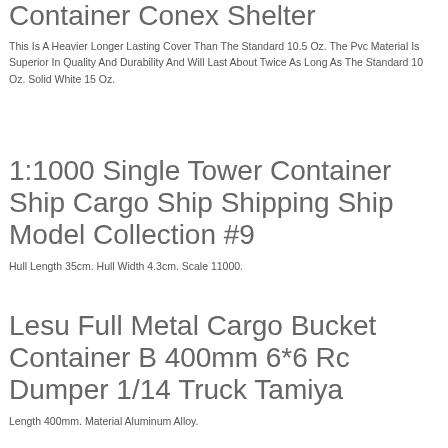Container Conex Shelter
This Is A Heavier Longer Lasting Cover Than The Standard 10.5 Oz. The Pvc Material Is Superior In Quality And Durability And Will Last About Twice As Long As The Standard 10 Oz. Solid White 15 Oz.
1:1000 Single Tower Container Ship Cargo Ship Shipping Ship Model Collection #9
Hull Length 35cm. Hull Width 4.3cm. Scale 11000.
Lesu Full Metal Cargo Bucket Container B 400mm 6*6 Rc Dumper 1/14 Truck Tamiya
Length 400mm. Material Aluminum Alloy.